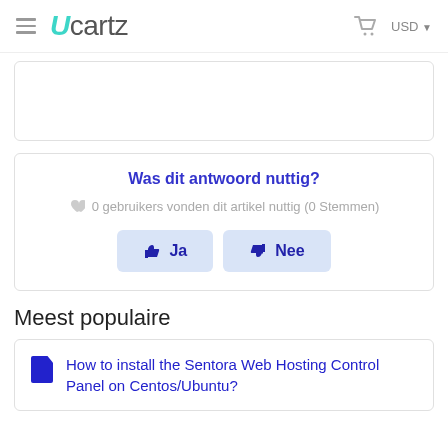Ucartz — USD
Was dit antwoord nuttig?
0 gebruikers vonden dit artikel nuttig (0 Stemmen)
Ja  Nee
Meest populaire
How to install the Sentora Web Hosting Control Panel on Centos/Ubuntu?